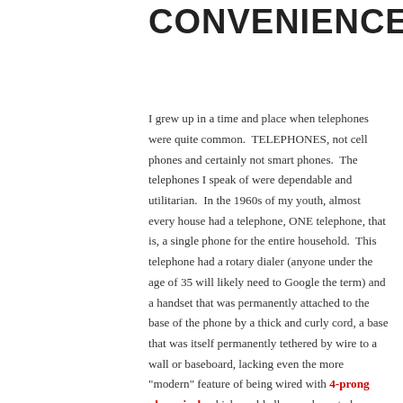CONVENIENCE
I grew up in a time and place when telephones were quite common.  TELEPHONES, not cell phones and certainly not smart phones.  The telephones I speak of were dependable and utilitarian.  In the 1960s of my youth, almost every house had a telephone, ONE telephone, that is, a single phone for the entire household.  This telephone had a rotary dialer (anyone under the age of 35 will likely need to Google the term) and a handset that was permanently attached to the base of the phone by a thick and curly cord, a base that was itself permanently tethered by wire to a wall or baseboard, lacking even the more "modern" feature of being wired with 4-prong phone jack which could allow a phone to be unplugged from a wall outlet in one room and moved to another room.  There were no answering machines, either.  If you